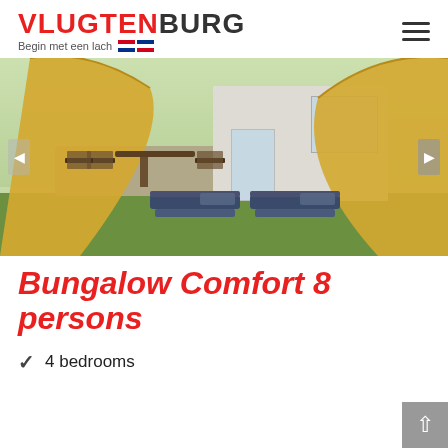VLUGTENBURG — Begin met een lach
[Figure (photo): Outdoor photo of a bungalow with a yellow shade sail canopy, patio table and chairs on the left, and sun loungers on the right on a green lawn.]
Bungalow Comfort 8 persons
4 bedrooms